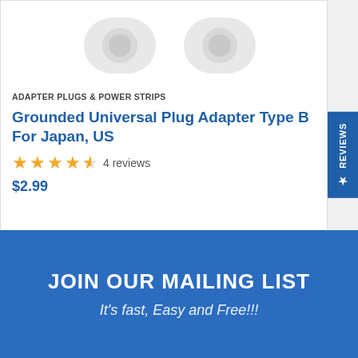[Figure (photo): Product image showing plug adapters on white background (partially visible at top)]
ADAPTER PLUGS & POWER STRIPS
Grounded Universal Plug Adapter Type B For Japan, US
4 reviews
$2.99
JOIN OUR MAILING LIST
It's fast, Easy and Free!!!